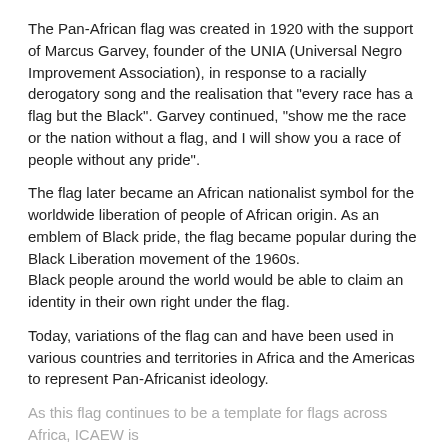The Pan-African flag was created in 1920 with the support of Marcus Garvey, founder of the UNIA (Universal Negro Improvement Association), in response to a racially derogatory song and the realisation that "every race has a flag but the Black". Garvey continued, "show me the race or the nation without a flag, and I will show you a race of people without any pride".
The flag later became an African nationalist symbol for the worldwide liberation of people of African origin. As an emblem of Black pride, the flag became popular during the Black Liberation movement of the 1960s.
Black people around the world would be able to claim an identity in their own right under the flag.
Today, variations of the flag can and have been used in various countries and territories in Africa and the Americas to represent Pan-Africanist ideology.
As this flag continues to be a template for flags across Africa, ICAEW is
How ICAEW use cookies
ICAEW use cookies to ensure you can log in to the site, remember your preferences and improve your website experience. ICAEW sets cookies across the domains it owns and operates. You can adjust these settings, otherwise we'll assume you're happy to continue.